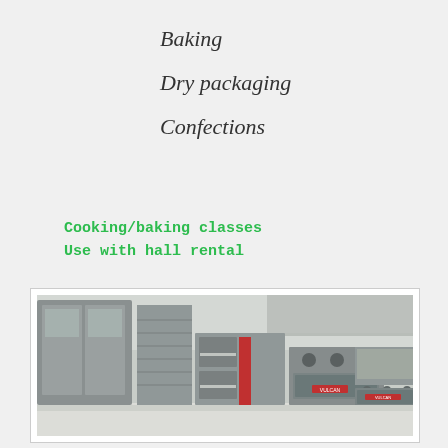Baking
Dry packaging
Confections
Cooking/baking classes
Use with hall rental
[Figure (photo): Commercial kitchen interior showing proofing cabinets, rack oven, Vulcan commercial range with griddle, stainless steel shelving and counters]